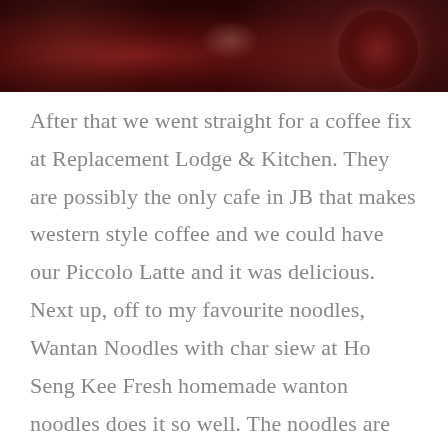[Figure (photo): Close-up photo of dark red food, likely char siew or braised meat, with a deep burgundy/dark red color and glistening texture against a dark background.]
After that we went straight for a coffee fix at Replacement Lodge & Kitchen.  They are possibly the only cafe in JB that makes western style coffee and we could have our Piccolo Latte and it was delicious.  Next up, off to my favourite noodles, Wantan Noodles with char siew at Ho Seng Kee Fresh homemade wanton noodles does it so well.  The noodles are freshly made everyday in-house and it has a beautiful texture and elasticity to it none of that soggy sticky textured noodles.  Add chilli and touch of vinegar to it paired with